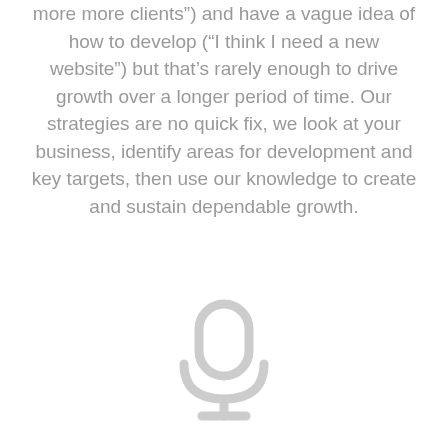more more clients”) and have a vague idea of how to develop (“I think I need a new website”) but that’s rarely enough to drive growth over a longer period of time. Our strategies are no quick fix, we look at your business, identify areas for development and key targets, then use our knowledge to create and sustain dependable growth.
[Figure (illustration): A light grey microphone icon centered on white background]